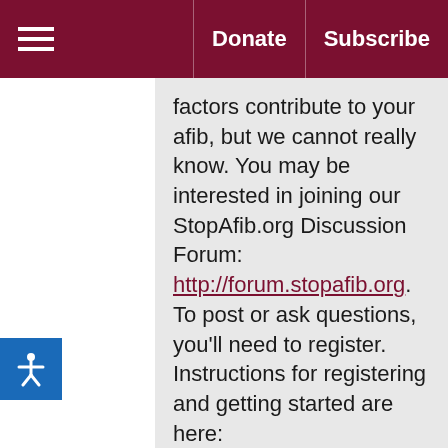≡  Donate  Subscribe
factors contribute to your afib, but we cannot really know. You may be interested in joining our StopAfib.org Discussion Forum: http://forum.stopafib.org. To post or ask questions, you'll need to register. Instructions for registering and getting started are here: http://forum.stopafib.org/index.ph showforum=25. Lately we've